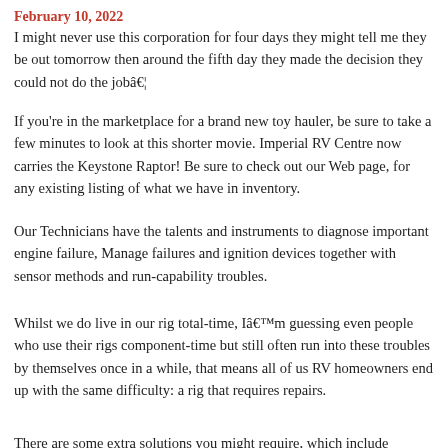February 10, 2022
I might never use this corporation for four days they might tell me they be out tomorrow then around the fifth day they made the decision they could not do the jobâ€¦
If you're in the marketplace for a brand new toy hauler, be sure to take a few minutes to look at this shorter movie. Imperial RV Centre now carries the Keystone Raptor! Be sure to check out our Web page, for any existing listing of what we have in inventory.
Our Technicians have the talents and instruments to diagnose important engine failure, Manage failures and ignition devices together with sensor methods and run-capability troubles.
Whilst we do live in our rig total-time, Iâ€™m guessing even people who use their rigs component-time but still often run into these troubles by themselves once in a while, that means all of us RV homeowners end up with the same difficulty: a rig that requires repairs.
There are some extra solutions you might require, which include